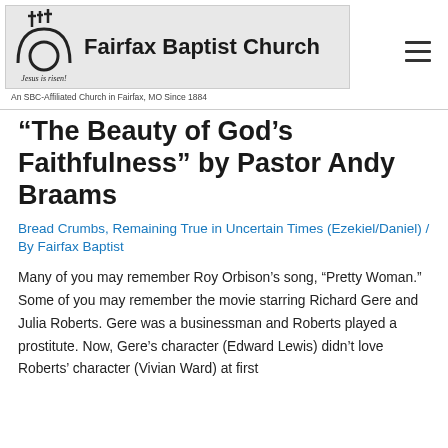[Figure (logo): Fairfax Baptist Church logo with cross icon and tagline 'Jesus is risen!']
An SBC-Affiliated Church in Fairfax, MO Since 1884
“The Beauty of God’s Faithfulness” by Pastor Andy Braams
Bread Crumbs, Remaining True in Uncertain Times (Ezekiel/Daniel) / By Fairfax Baptist
Many of you may remember Roy Orbison’s song, “Pretty Woman.” Some of you may remember the movie starring Richard Gere and Julia Roberts. Gere was a businessman and Roberts played a prostitute. Now, Gere’s character (Edward Lewis) didn’t love Roberts’ character (Vivian Ward) at first...